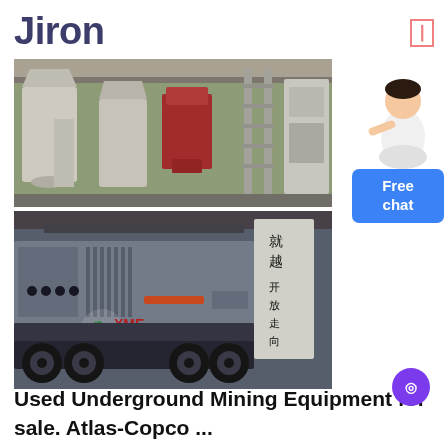Jiron
[Figure (photo): Two stacked industrial/mining equipment photos: top shows factory interior with industrial machinery including silos and crushers; bottom shows a large mobile mining crusher mounted on a truck chassis inside a warehouse, with XME Mining Equipment logo overlay and Chinese text banner]
Used Underground Mining Equipment for sale. Atlas-Copco ...